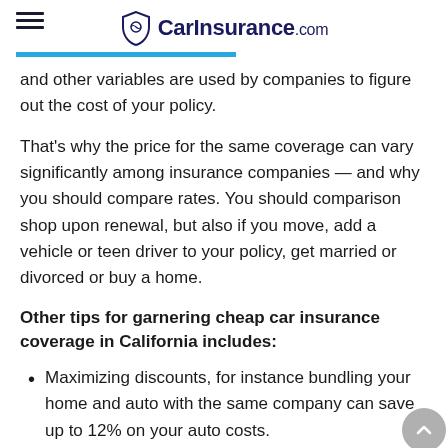CarInsurance.com
and other variables are used by companies to figure out the cost of your policy.
That's why the price for the same coverage can vary significantly among insurance companies — and why you should compare rates. You should comparison shop upon renewal, but also if you move, add a vehicle or teen driver to your policy, get married or divorced or buy a home.
Other tips for garnering cheap car insurance coverage in California includes:
Maximizing discounts, for instance bundling your home and auto with the same company can save up to 12% on your auto costs.